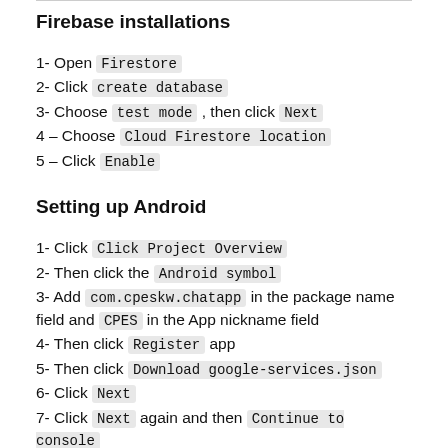Firebase installations
1- Open Firestore
2- Click create database
3- Choose test mode , then click Next
4 – Choose Cloud Firestore location
5 – Click Enable
Setting up Android
1- Click Click Project Overview
2- Then click the Android symbol
3- Add com.cpeskw.chatapp in the package name field and CPES in the App nickname field
4- Then click Register app
5- Then click Download google-services.json
6- Click Next
7- Click Next again and then Continue to console